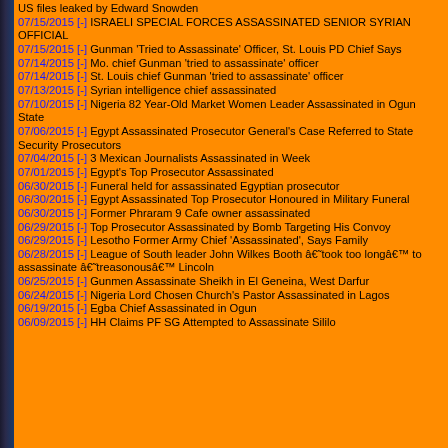US files leaked by Edward Snowden
07/15/2015 [-] ISRAELI SPECIAL FORCES ASSASSINATED SENIOR SYRIAN OFFICIAL
07/15/2015 [-] Gunman 'Tried to Assassinate' Officer, St. Louis PD Chief Says
07/14/2015 [-] Mo. chief Gunman 'tried to assassinate' officer
07/14/2015 [-] St. Louis chief Gunman 'tried to assassinate' officer
07/13/2015 [-] Syrian intelligence chief assassinated
07/10/2015 [-] Nigeria 82 Year-Old Market Women Leader Assassinated in Ogun State
07/06/2015 [-] Egypt Assassinated Prosecutor General's Case Referred to State Security Prosecutors
07/04/2015 [-] 3 Mexican Journalists Assassinated in Week
07/01/2015 [-] Egypt's Top Prosecutor Assassinated
06/30/2015 [-] Funeral held for assassinated Egyptian prosecutor
06/30/2015 [-] Egypt Assassinated Top Prosecutor Honoured in Military Funeral
06/30/2015 [-] Former Phraram 9 Cafe owner assassinated
06/29/2015 [-] Top Prosecutor Assassinated by Bomb Targeting His Convoy
06/29/2015 [-] Lesotho Former Army Chief 'Assassinated', Says Family
06/28/2015 [-] League of South leader John Wilkes Booth â€˜took too longâ€™ to assassinate â€˜treasonousâ€™ Lincoln
06/25/2015 [-] Gunmen Assassinate Sheikh in El Geneina, West Darfur
06/24/2015 [-] Nigeria Lord Chosen Church's Pastor Assassinated in Lagos
06/19/2015 [-] Egba Chief Assassinated in Ogun
06/09/2015 [-] HH Claims PF SG Attempted to Assassinate Sililo